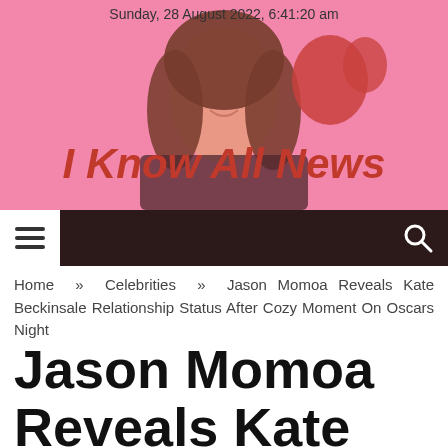Sunday, 28 August 2022, 6:41:20 am
[Figure (illustration): Pink background with a smiling woman holding red balloons, website header banner for I Know All News]
I Know All News
Home » Celebrities » Jason Momoa Reveals Kate Beckinsale Relationship Status After Cozy Moment On Oscars Night
Jason Momoa Reveals Kate Beckinsale